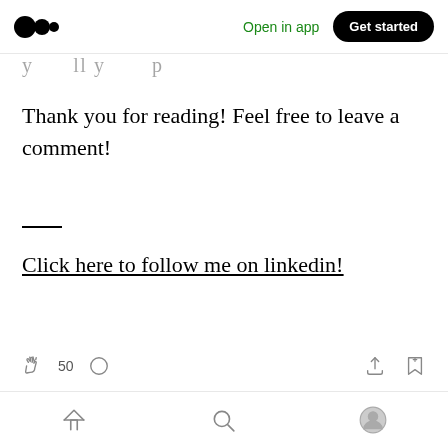Open in app | Get started
Thank you for reading! Feel free to leave a comment!
Click here to follow me on linkedin!
50 claps, comment icon, share icon, bookmark icon